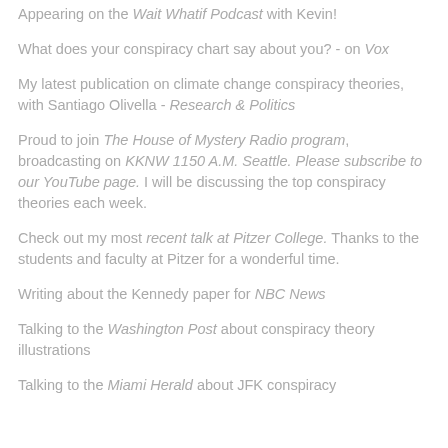Appearing on the Wait Whatif Podcast with Kevin!
What does your conspiracy chart say about you? - on Vox
My latest publication on climate change conspiracy theories, with Santiago Olivella - Research & Politics
Proud to join The House of Mystery Radio program, broadcasting on KKNW 1150 A.M. Seattle. Please subscribe to our YouTube page. I will be discussing the top conspiracy theories each week.
Check out my most recent talk at Pitzer College. Thanks to the students and faculty at Pitzer for a wonderful time.
Writing about the Kennedy paper for NBC News
Talking to the Washington Post about conspiracy theory illustrations
Talking to the Miami Herald about JFK conspiracy